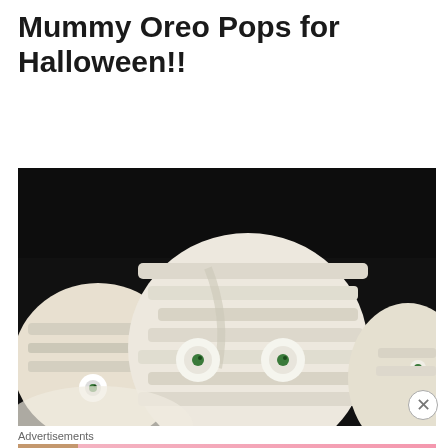Mummy Oreo Pops for Halloween!!
[Figure (other): Pin it button widget]
[Figure (photo): Close-up photograph of mummy-themed Oreo pops decorated with white chocolate coating and candy eyes with green pupils, on a dark background]
Advertisements
[Figure (other): Victoria's Secret advertisement banner with model photo, VS logo, 'SHOP THE COLLECTION' text, and 'SHOP NOW' button on a pink background]